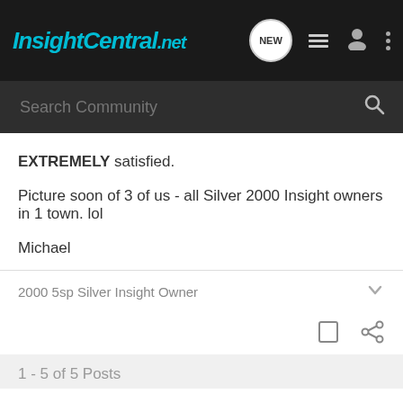[Figure (screenshot): InsightCentral.net navigation bar with logo, new message bubble, list icon, person icon, and three-dots menu]
[Figure (screenshot): Search Community input bar with magnifying glass icon]
EXTREMELY satisfied.
Picture soon of 3 of us - all Silver 2000 Insight owners in 1 town. lol
Michael
2000 5sp Silver Insight Owner
1 - 5 of 5 Posts